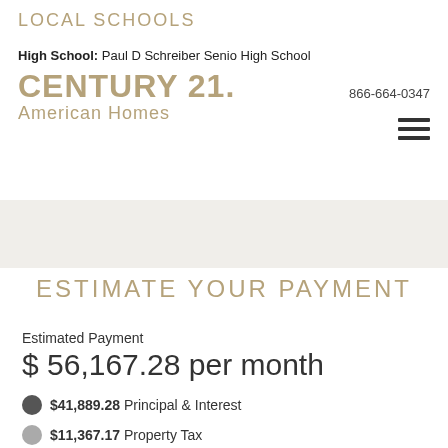LOCAL SCHOOLS
High School: Paul D Schreiber Senio High School
[Figure (logo): Century 21 American Homes logo with gold text]
866-664-0347
ESTIMATE YOUR PAYMENT
Estimated Payment
$ 56,167.28 per month
$41,889.28 Principal & Interest
$11,367.17 Property Tax